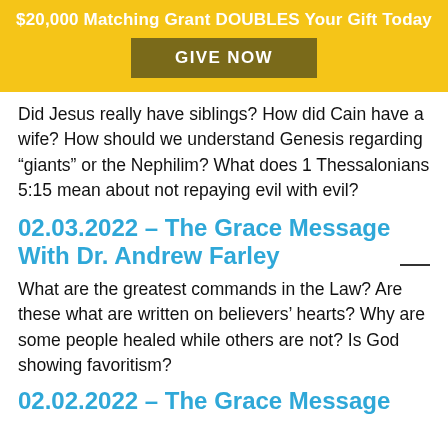$20,000 Matching Grant DOUBLES Your Gift Today
GIVE NOW
Did Jesus really have siblings? How did Cain have a wife? How should we understand Genesis regarding “giants” or the Nephilim? What does 1 Thessalonians 5:15 mean about not repaying evil with evil?
02.03.2022 – The Grace Message With Dr. Andrew Farley
What are the greatest commands in the Law? Are these what are written on believers’ hearts? Why are some people healed while others are not? Is God showing favoritism?
02.02.2022 – The Grace Message